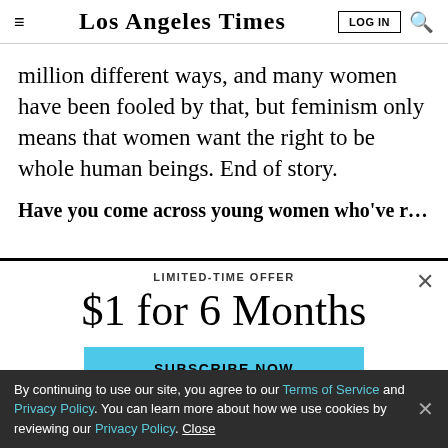Los Angeles Times
million different ways, and many women have been fooled by that, but feminism only means that women want the right to be whole human beings. End of story.
Have you come across young women who've reaped
LIMITED-TIME OFFER
$1 for 6 Months
SUBSCRIBE NOW
By continuing to use our site, you agree to our Terms of Service and Privacy Policy. You can learn more about how we use cookies by reviewing our Privacy Policy. Close